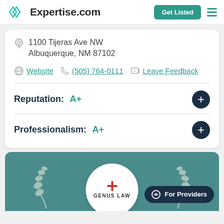[Figure (logo): Expertise.com logo with teal diamond icon and bold text, Get Listed button, and hamburger menu]
1100 Tijeras Ave NW
Albuquerque, NM 87102
Website  (505) 764-0111  Leave Feedback
Reputation:  A+
Professionalism:  A+
[Figure (logo): Teal card with laurel leaves, Genus Law circular logo, and For Providers chat pill button]